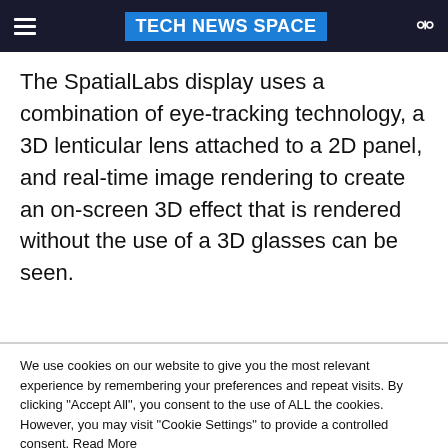TECH NEWS SPACE
The SpatialLabs display uses a combination of eye-tracking technology, a 3D lenticular lens attached to a 2D panel, and real-time image rendering to create an on-screen 3D effect that is rendered without the use of a 3D glasses can be seen.
We use cookies on our website to give you the most relevant experience by remembering your preferences and repeat visits. By clicking "Accept All", you consent to the use of ALL the cookies. However, you may visit "Cookie Settings" to provide a controlled consent. Read More